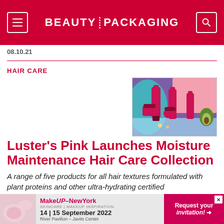BEAUTY PACKAGING
08.10.21
HAIR CARE
[Figure (photo): Luster's Pink hair care product collection — pink bottles and jars arranged against colorful purple and teal background with an avocado]
Luster's Pink Launches Moisture Maintenance Hair Care Collection
A range of five products for all hair textures formulated with plant proteins and other ultra-hydrating certified
[Figure (other): MakeUp-NewYork advertisement banner: 14 | 15 September 2022, River Pavilion – Javits Center, Request your invitation!]